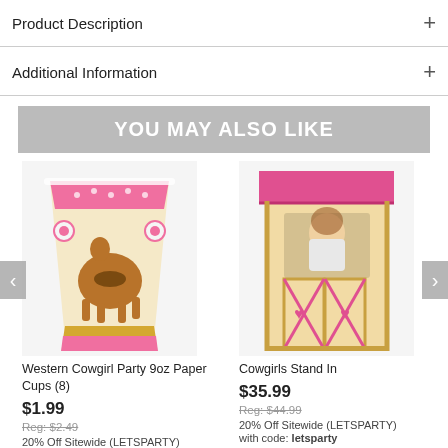Product Description
Additional Information
YOU MAY ALSO LIKE
[Figure (photo): Western Cowgirl Party 9oz Paper Cups with horse and floral design in pink]
Western Cowgirl Party 9oz Paper Cups (8)
$1.99
Reg: $2.49
20% Off Sitewide (LETSPARTY)
with code: letsparty
[Figure (photo): Cowgirls Stand In cardboard barn prop with girl peeking through window]
Cowgirls Stand In
$35.99
Reg: $44.99
20% Off Sitewide (LETSPARTY)
with code: letsparty